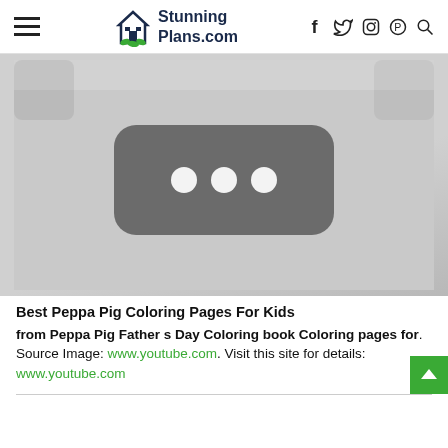StunningPlans.com
[Figure (screenshot): A blurred/greyed out YouTube video thumbnail placeholder showing a dark rounded rectangle with three white dots in the center, on a light grey background.]
Best Peppa Pig Coloring Pages For Kids
from Peppa Pig Father s Day Coloring book Coloring pages for. Source Image: www.youtube.com. Visit this site for details: www.youtube.com